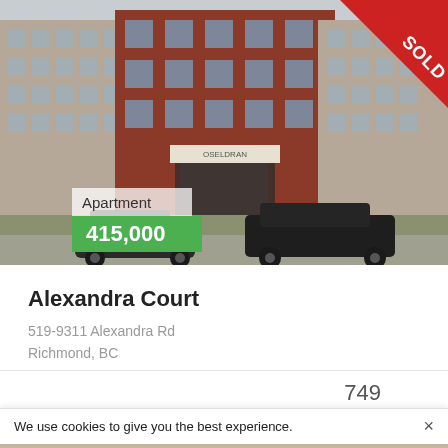[Figure (photo): Exterior photo of Alexandra Court apartment building, a multi-story red brick building with modern balconies. Two dark cars parked in front. A red 'SOLD' banner visible in the top-right corner. Green price tag overlay showing 'Apartment' and '415,000'.]
Alexandra Court
519-9311 Alexandra Rd
Richmond, BC
749
Beds   Baths   Square Feet
We use cookies to give you the best experience.
[Figure (photo): Partial interior photo visible at bottom of page.]